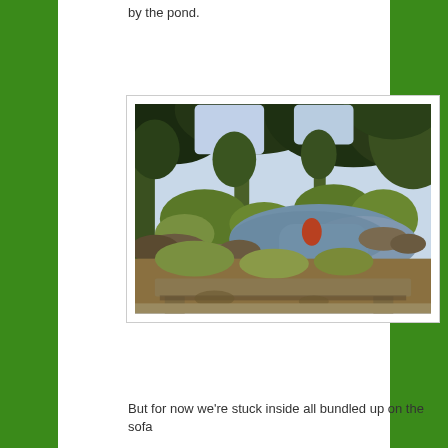by the pond.
[Figure (photo): Outdoor garden scene with a natural pond surrounded by rocks, green shrubs, and trees. A wooden bench or bridge structure is visible in the foreground. Lush vegetation and trees frame the water on all sides in bright daylight.]
But for now we're stuck inside all bundled up on the sofa